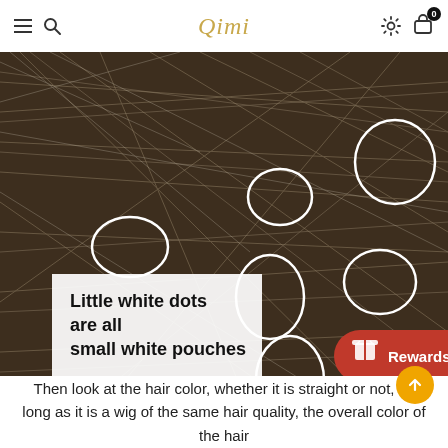Qimi
[Figure (photo): Close-up macro photo of hair with white circles drawn to highlight small white dots described as small white pouches. A white text box overlay reads: 'Little white dots are all small white pouches'. A red Rewards button and www.qimiwigs.com watermark are overlaid at the bottom right.]
Then look at the hair color, whether it is straight or not, as long as it is a wig of the same hair quality, the overall color of the hair